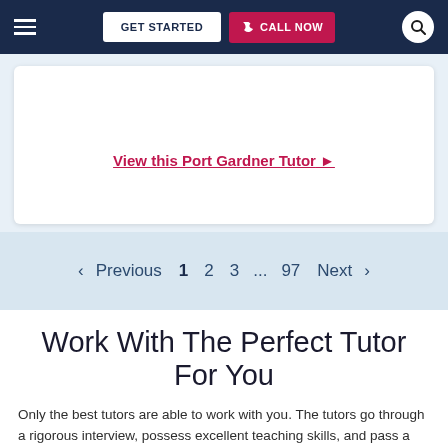GET STARTED | CALL NOW
View this Port Gardner Tutor ►
< Previous 1 2 3 ... 97 Next >
Work With The Perfect Tutor For You
Only the best tutors are able to work with you. The tutors go through a rigorous interview, possess excellent teaching skills, and pass a background check. From this